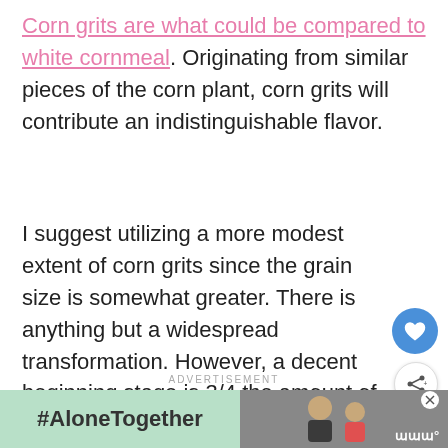Corn grits are what could be compared to white cornmeal. Originating from similar pieces of the corn plant, corn grits will contribute an indistinguishable flavor.
I suggest utilizing a more modest extent of corn grits since the grain size is somewhat greater. There is anything but a widespread transformation. However, a decent beginning stage is 3/4 the amount of the first cornmeal.
ADVERTISEMENT
[Figure (photo): Advertisement banner showing '#AloneTogether' hashtag on a green background on the left, and a photo of a father and daughter on the right with a close button and logo]